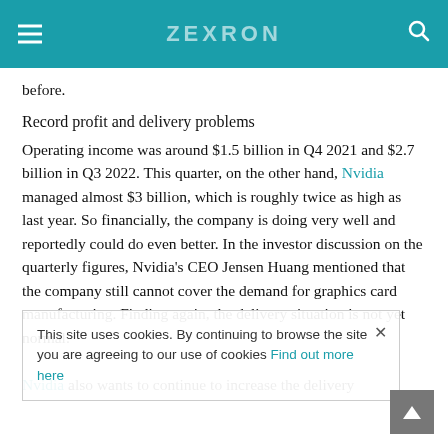ZEXRON
before.
Record profit and delivery problems
Operating income was around $1.5 billion in Q4 2021 and $2.7 billion in Q3 2022. This quarter, on the other hand, Nvidia managed almost $3 billion, which is roughly twice as high as last year. So financially, the company is doing very well and reportedly could do even better. In the investor discussion on the quarterly figures, Nvidia's CEO Jensen Huang mentioned that the company still cannot cover the demand for graphics card manufacturing. Finding again, the delivery situation is not yet normal.

Nvidia also wants to continue to increase the delivery
This site uses cookies. By continuing to browse the site you are agreeing to our use of cookies Find out more here